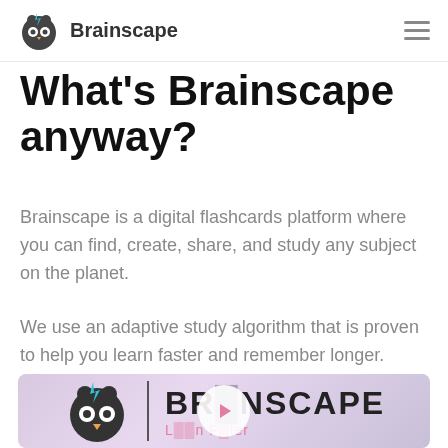Brainscape
What's Brainscape anyway?
Brainscape is a digital flashcards platform where you can find, create, share, and study any subject on the planet.
We use an adaptive study algorithm that is proven to help you learn faster and remember longer.
[Figure (screenshot): Brainscape logo and brand name on a soft purple/lavender background with a video play button overlay. Shows the Brainscape owl icon with lightning bolt, a vertical divider, and text BRAINSCAPE with tagline 'Learn Faster'.]